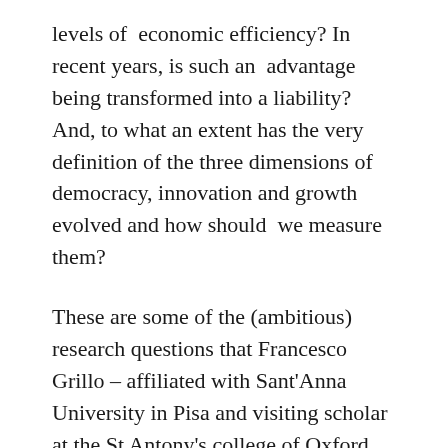levels of economic efficiency? In recent years, is such an advantage being transformed into a liability? And, to what an extent has the very definition of the three dimensions of democracy, innovation and growth evolved and how should we measure them?
These are some of the (ambitious) research questions that Francesco Grillo – affiliated with Sant'Anna University in Pisa and visiting scholar at the St Antony's college of Oxford University – is investigating with his colleagues.
His current research agenda takes off from and expands his Phd work at the London School of Economics where he began to explore under